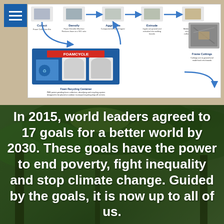[Figure (infographic): FOAMCYCLE foam recycling process diagram showing steps: Collect (Foam Collection Bin), Densify (Foam Densifier Machine, reduces foam at a 90:1 ratio), Aggregate (Compacted densified 'ingots'), Extrude (Ingots are ground and extruded into molding boards), Frame (Molding boards are cut into picture frames called a Better Frame). Center shows a Foam Recycling Container (PMS patent-pending foam collection, densifying and recycling system designed to be placed at outdoor municipal recycling drop off centers). Bottom right shows Frame Cuttings (Cuttings are re-ground and made back into boards). Blue arrows show circular process flow.]
In 2015, world leaders agreed to 17 goals for a better world by 2030. These goals have the power to end poverty, fight inequality and stop climate change. Guided by the goals, it is now up to all of us.